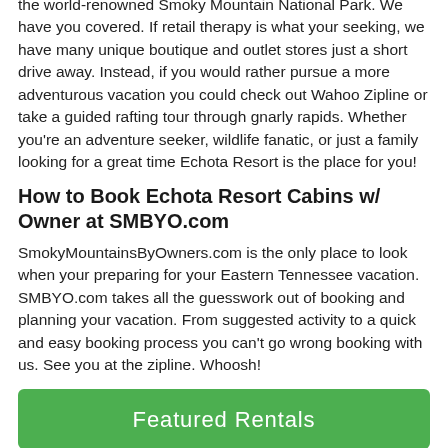the world-renowned Smoky Mountain National Park. We have you covered. If retail therapy is what your seeking, we have many unique boutique and outlet stores just a short drive away. Instead, if you would rather pursue a more adventurous vacation you could check out Wahoo Zipline or take a guided rafting tour through gnarly rapids. Whether you're an adventure seeker, wildlife fanatic, or just a family looking for a great time Echota Resort is the place for you!
How to Book Echota Resort Cabins w/ Owner at SMBYO.com
SmokyMountainsByOwners.com is the only place to look when your preparing for your Eastern Tennessee vacation. SMBYO.com takes all the guesswork out of booking and planning your vacation. From suggested activity to a quick and easy booking process you can't go wrong booking with us. See you at the zipline. Whoosh!
[Figure (other): Green button labeled 'Featured Rentals']
[Figure (other): White box with green border containing 'Inquire Online' text with calendar icon]